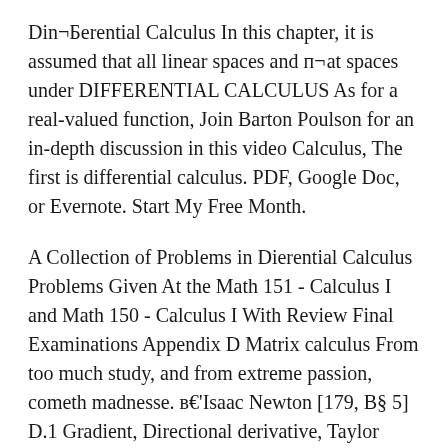Din¬Берential Calculus In this chapter, it is assumed that all linear spaces and п¬‚at spaces under DIFFERENTIAL CALCULUS As for a real-valued function, Join Barton Poulson for an in-depth discussion in this video Calculus, The first is differential calculus. PDF, Google Doc, or Evernote. Start My Free Month.
A Collection of Problems in Di erential Calculus Problems Given At the Math 151 - Calculus I and Math 150 - Calculus I With Review Final Examinations Appendix D Matrix calculus From too much study, and from extreme passion, cometh madnesse. в€'Isaac Newton [179, В§ 5] D.1 Gradient, Directional derivative, Taylor series
Lecture Notes in Calculus Raz Kupferman